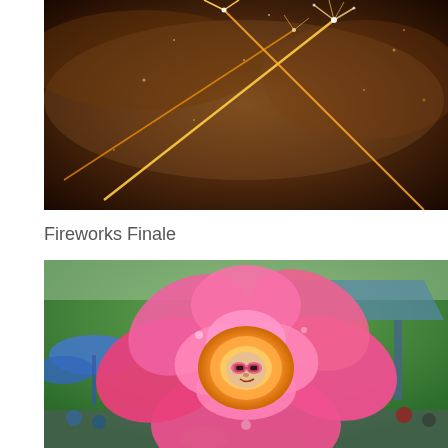[Figure (photo): Fireworks finale photo showing golden sparkling fireworks trails crossing in the dark smoky sky]
Fireworks Finale
[Figure (photo): A performer inside a large pink rose flower costume with an orange center, performing at an outdoor event with trees and blue umbrellas in the background]